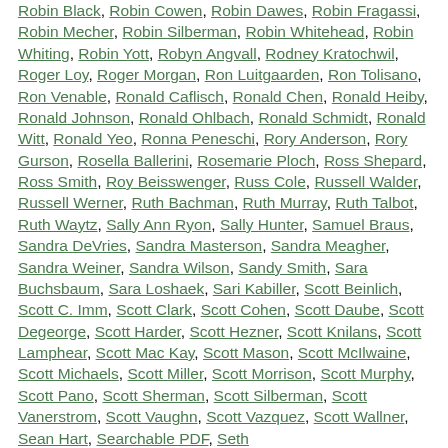Robin Black, Robin Cowen, Robin Dawes, Robin Fragassi, Robin Mecher, Robin Silberman, Robin Whitehead, Robin Whiting, Robin Yott, Robyn Angvall, Rodney Kratochwil, Roger Loy, Roger Morgan, Ron Luitgaarden, Ron Tolisano, Ron Venable, Ronald Caflisch, Ronald Chen, Ronald Heiby, Ronald Johnson, Ronald Ohlbach, Ronald Schmidt, Ronald Witt, Ronald Yeo, Ronna Peneschi, Rory Anderson, Rory Gurson, Rosella Ballerini, Rosemarie Ploch, Ross Shepard, Ross Smith, Roy Beisswenger, Russ Cole, Russell Walder, Russell Werner, Ruth Bachman, Ruth Murray, Ruth Talbot, Ruth Waytz, Sally Ann Ryon, Sally Hunter, Samuel Braus, Sandra DeVries, Sandra Masterson, Sandra Meagher, Sandra Weiner, Sandra Wilson, Sandy Smith, Sara Buchsbaum, Sara Loshaek, Sari Kabiller, Scott Beinlich, Scott C. Imm, Scott Clark, Scott Cohen, Scott Daube, Scott Degeorge, Scott Harder, Scott Hezner, Scott Knilans, Scott Lamphear, Scott Mac Kay, Scott Mason, Scott McIlwaine, Scott Michaels, Scott Miller, Scott Morrison, Scott Murphy, Scott Pano, Scott Sherman, Scott Silberman, Scott Vanerstrom, Scott Vaughn, Scott Vazquez, Scott Wallner, Sean Hart, Searchable PDF, Seth